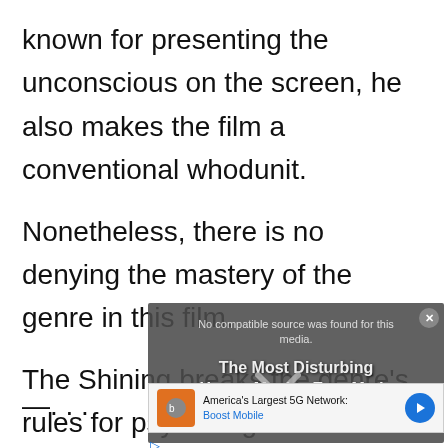known for presenting the unconscious on the screen, he also makes the film a conventional whodunit.
Nonetheless, there is no denying the mastery of the genre in this film.
The Shining breaks the genre's rules for psychological realism by breaking it.
[Figure (screenshot): Video overlay showing 'No compatible source was found for this media.' with title 'The Most Disturbing Horror Movies Ever Made' and a close button]
[Figure (screenshot): Advertisement banner for Boost Mobile - America's Largest 5G Network with orange icon and blue navigation arrow]